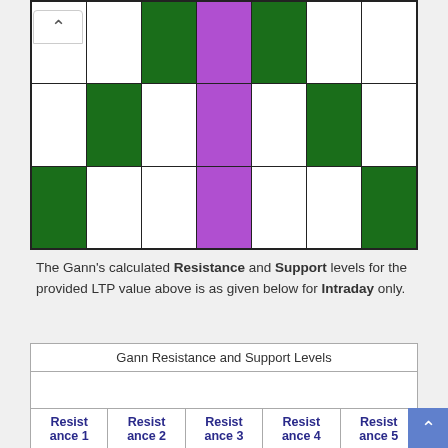[Figure (other): A 6-column by 3-row grid with colored cells: green, white, and purple arranged in a pattern. Purple column runs down the middle (column 4). Green cells appear in corners and specific positions.]
The Gann's calculated Resistance and Support levels for the provided LTP value above is as given below for Intraday only.
| Resistance 1 | Resistance 2 | Resistance 3 | Resistance 4 | Resistance 5 |
| --- | --- | --- | --- | --- |
|  |
|  |